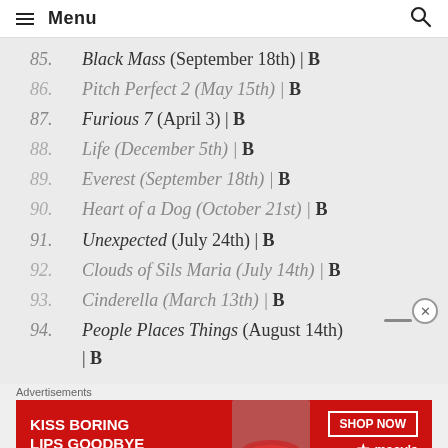Menu
85. Black Mass (September 18th) | B
86. Pitch Perfect 2 (May 15th) | B
87. Furious 7 (April 3) | B
88. Life (December 5th) | B
89. Everest (September 18th) | B
90. Heart of a Dog (October 21st) | B
91. Unexpected (July 24th) | B
92. Clouds of Sils Maria (July 14th) | B
93. Cinderella (March 13th) | B
94. People Places Things (August 14th) | B
[Figure (infographic): Macy's advertisement banner: KISS BORING LIPS GOODBYE with SHOP NOW button and Macy's logo]